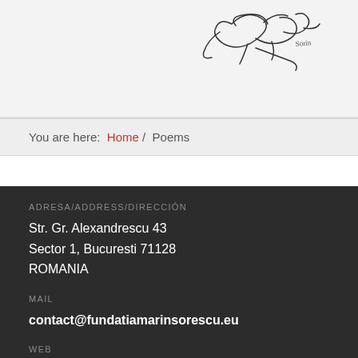[Figure (illustration): Sketch/signature drawing on light grey background — partial view of a handwritten illustration with scribbly lines]
You are here: Home / Poems
ADRESA/ADDRESS/DIRECCIÓN
Str. Gr. Alexandrescu 43
Sector 1, Bucuresti 71128
ROMANIA
MAIL
contact@fundatiamarinsorescu.eu
WEB